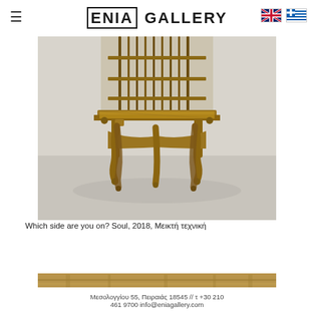ENIA GALLERY
[Figure (photo): A large ornate wooden birdcage on decorative carved legs, photographed in a white gallery space. The cage has vertical metal bars and a latticed base, supported by turned wooden legs with ornate detailing.]
Which side are you on? Soul, 2018, Μεικτή τεχνική
[Figure (photo): Partial cropped view of the bottom edge of a wooden structure, showing warm brown tones.]
Μεσολογγίου 55, Πειραιάς 18545 // τ +30 210 461 9700 info@eniagallery.com